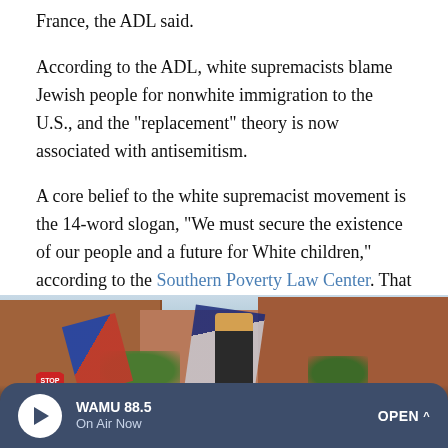France, the ADL said.
According to the ADL, white supremacists blame Jewish people for nonwhite immigration to the U.S., and the "replacement" theory is now associated with antisemitism.
A core belief to the white supremacist movement is the 14-word slogan, "We must secure the existence of our people and a future for White children," according to the Southern Poverty Law Center. That slogan was coined by David Lane, a member of the white supremacist group The Order.
[Figure (photo): Street scene photo showing a crowd at what appears to be a rally or demonstration, with flags including a Confederate flag, brick buildings in the background, and trees visible.]
WAMU 88.5 On Air Now OPEN ^